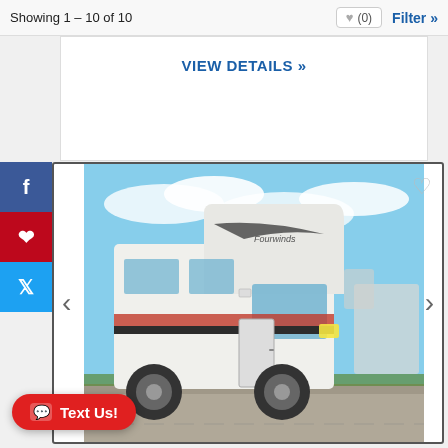Showing 1 - 10 of 10
♥ (0)
Filter »
VIEW DETAILS »
[Figure (photo): Class C motorhome (Fourwinds/Thor brand) photographed in a parking lot with a blue sky background. White RV with red and black graphics, ford chassis, multiple RVs visible in background.]
Text Us!